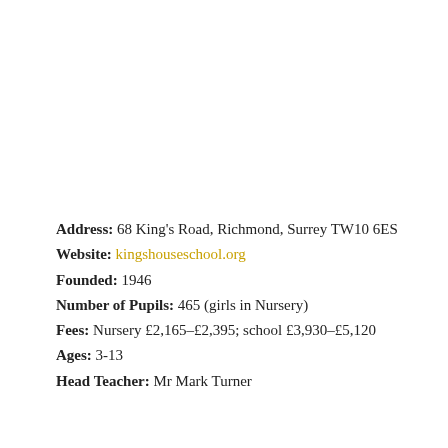Address: 68 King's Road, Richmond, Surrey TW10 6ES
Website: kingshouseschool.org
Founded: 1946
Number of Pupils: 465 (girls in Nursery)
Fees: Nursery £2,165–£2,395; school £3,930–£5,120
Ages: 3-13
Head Teacher: Mr Mark Turner